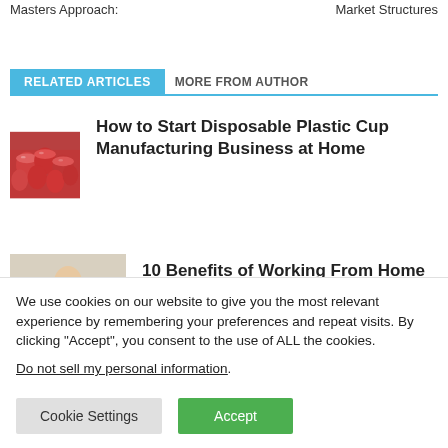Masters Approach:
Market Structures
RELATED ARTICLES | MORE FROM AUTHOR
[Figure (photo): Red disposable plastic cups scattered on a surface]
How to Start Disposable Plastic Cup Manufacturing Business at Home
[Figure (photo): Person sitting and thinking, working from home concept]
10 Benefits of Working From Home
We use cookies on our website to give you the most relevant experience by remembering your preferences and repeat visits. By clicking “Accept”, you consent to the use of ALL the cookies.
Do not sell my personal information.
Cookie Settings | Accept